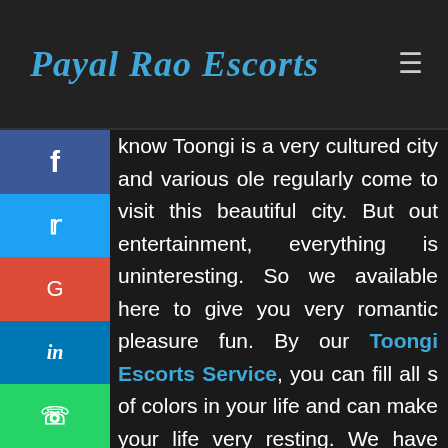Payal Rao Escorts
know Toongi is a very cultured city and various ole regularly come to visit this beautiful city. But out entertainment, everything is uninteresting. So we available here to give you very romantic pleasure fun. By our Toongi Escorts Service, you can fill all s of colors in your life and can make your life very resting. We have every categories girl who is here for you. They know how to make peaceful the est minds of men. This agency girls are very utable and trustworthy escorts so now you can enjoy your life without any hesitation and in your type. With them, you can discuss and talks about any topic